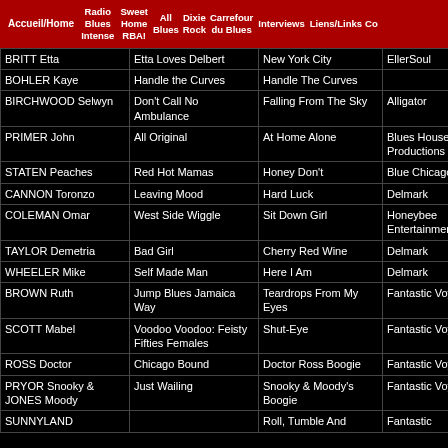Accueil/Home | Radio Blues Intense | Sweet Home RBA! | All Blues | Dixie Rock | Carrefour du Blues | Interviews | Liens/Links | Co
| Artist | Album | Song | Label |
| --- | --- | --- | --- |
| BRITT Etta | Etta Loves Delbert | New York City | EllerSoul |
| BOHLER Kaye | Handle the Curves | Handle The Curves |  |
| BIRCHWOOD Selwyn | Don't Call No Ambulance | Falling From The Sky | Alligator |
| PRIMER John | All Original | At Home Alone | Blues House Productions |
| STATEN Peaches | Red Hot Mamas | Honey Don't | Blue Chicago |
| CANNON Toronzo | Leaving Mood | Hard Luck | Delmark |
| COLEMAN Omar | West Side Wiggle | Sit Down Girl | Honeybee Entertainment |
| TAYLOR Demetria | Bad Girl | Cherry Red Wine | Delmark |
| WHEELER Mike | Self Made Man | Here I Am | Delmark |
| BROWN Ruth | Jump Blues Jamaica Way | Teardrops From My Eyes | Fantastic Voyage |
| SCOTT Mabel | Voodoo Voodoo: Feisty Fifties Females | Shut-Eye | Fantastic Voyage |
| ROSS Doctor | Chicago Bound | Doctor Ross Boogie | Fantastic Voyage |
| PRYOR Snooky & JONES Moody | Just Wailing | Snooky & Moody's Boogie | Fantastic Voyage |
| SUNNYLAND ... |  | Roll, Tumble And ... | Fantastic ... |